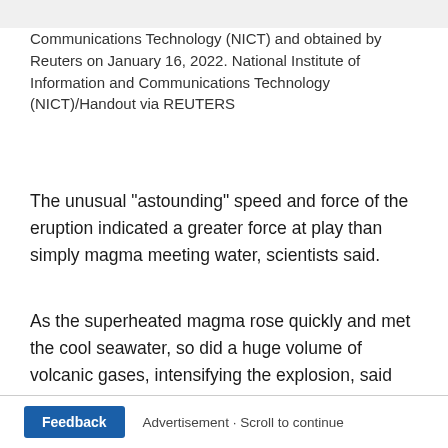Communications Technology (NICT) and obtained by Reuters on January 16, 2022. National Institute of Information and Communications Technology (NICT)/Handout via REUTERS
The unusual "astounding" speed and force of the eruption indicated a greater force at play than simply magma meeting water, scientists said.
As the superheated magma rose quickly and met the cool seawater, so did a huge volume of volcanic gases, intensifying the explosion, said Raymond Cas, a professor of volcanology at Australia's Monash University.
Feedback   Advertisement · Scroll to continue